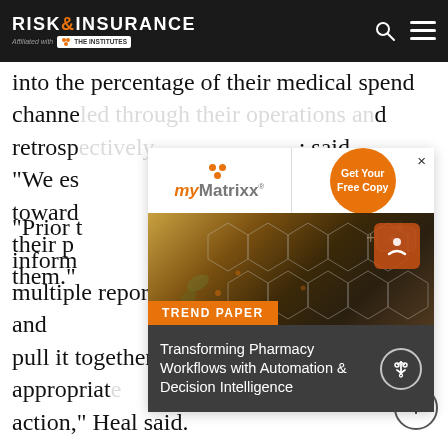RISK & INSURANCE | Affiliated with THE INSTITUTES
into the percentage of their medical spend channeled through their operations and retrospectively; said. "We es work towards ort their p k to them."
[Figure (infographic): myMatrixx advertisement overlay with orange logo, Get Your Free Copy CTA button, pharmacy technology image with honeycomb overlay, TREND PAPER badge, and title: Transforming Pharmacy Workflows with Automation & Decision Intelligence]
"Prior t inform rpret multiple reports from multiple sources and pull it together in order to take appropriate action," Heal said.